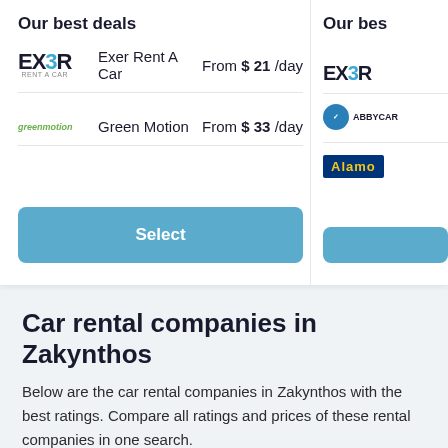Our best deals
Exer Rent A Car  From $ 21 /day
Green Motion  From $ 33 /day
Select
Car rental companies in Zakynthos
Below are the car rental companies in Zakynthos with the best ratings. Compare all ratings and prices of these rental companies in one search.
1  Autounion  8.8 (12)